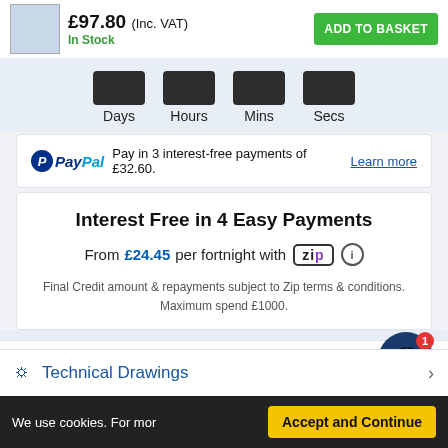£97.80 (Inc. VAT)  In Stock  ADD TO BASKET
Days  Hours  Mins  Secs
PayPal  Pay in 3 interest-free payments of £32.60.  Learn more
Interest Free in 4 Easy Payments
From £24.45 per fortnight with Zip
Final Credit amount & repayments subject to Zip terms & conditions. Maximum spend £1000.
Description
Documents
Technical Drawings
We use cookies. For mor  Accept and Continue